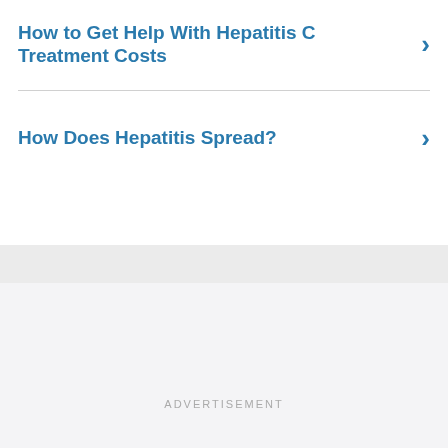How to Get Help With Hepatitis C Treatment Costs
How Does Hepatitis Spread?
ADVERTISEMENT